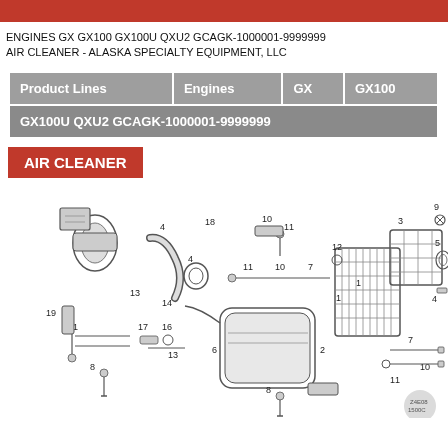ENGINES GX GX100 GX100U QXU2 GCAGK-1000001-9999999
AIR CLEANER - ALASKA SPECIALTY EQUIPMENT, LLC
| Product Lines | Engines | GX | GX100 |
| --- | --- | --- | --- |
| GX100U QXU2 GCAGK-1000001-9999999 |  |  |  |
AIR CLEANER
[Figure (engineering-diagram): Exploded parts diagram of Honda GX100 air cleaner assembly with numbered component callouts (1-19) showing air filter element, case, cover, gaskets, bolts, wing nut, clamp, insulator, and related parts.]